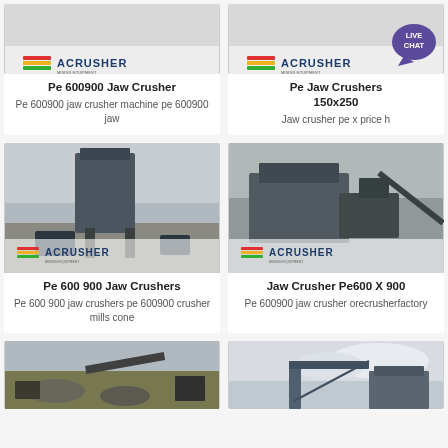[Figure (photo): ACRUSHER branded product image for Pe 600900 Jaw Crusher]
Pe 600900 Jaw Crusher
Pe 600900 jaw crusher machine pe 600900 jaw
[Figure (photo): ACRUSHER branded product image for Pe Jaw Crushers 150x250]
Pe Jaw Crushers 150x250
Jaw crusher pe x price h
[Figure (photo): ACRUSHER branded photo of large industrial jaw crusher equipment in field]
Pe 600 900 Jaw Crushers
Pe 600 900 jaw crushers pe 600900 crusher mills cone
[Figure (photo): ACRUSHER branded photo of Jaw Crusher Pe600 X 900 machinery]
Jaw Crusher Pe600 X 900
Pe 600900 jaw crusher orecrusherfactory
[Figure (photo): ACRUSHER photo of crusher equipment at job site (bottom left)]
[Figure (photo): ACRUSHER photo of crusher equipment at job site (bottom right)]